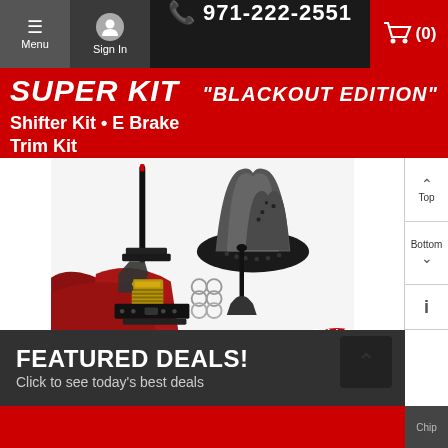Menu  Sign In  971-222-2551  (0)
SUPER KIT  "BLACKOUT EDITION"
Shifter Kit • E Brake Trim Kit
[Figure (photo): Automotive super kit blackout edition showing shifter assembly, e-brake, trim kit boots, hardware, and a circular billet knob badge. Components include a floor shifter, black boots (teardrop shaped), mounting brackets, e-brake handle, and various hardware pieces. Red trim panel shown at bottom. BILLET KNOB badge shown in upper right.]
FEATURED DEALS!
Click to see today's best deals